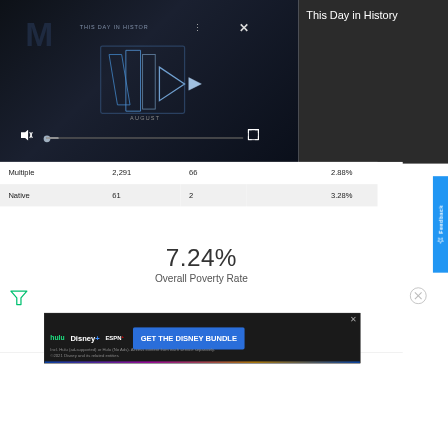[Figure (screenshot): Video player showing 'This Day in History' with play controls, mute icon, progress bar, three-dot menu, and X close button. Dark background with stylized play button graphic and 'AUGUST' label.]
This Day in History
| Multiple | 2,291 | 66 | 2.88% |
| Native | 61 | 2 | 3.28% |
7.24%
Overall Poverty Rate
[Figure (screenshot): Advertisement banner: GET THE DISNEY BUNDLE — hulu, Disney+, ESPN+. Incl. Hulu (ad-supported) or Hulu (No Ads). Access content from each service separately. ©2021 Disney and its related entities]